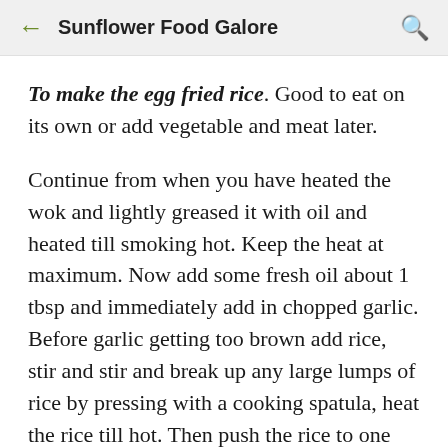← Sunflower Food Galore 🔍
To make the egg fried rice. Good to eat on its own or add vegetable and meat later.
Continue from when you have heated the wok and lightly greased it with oil and heated till smoking hot. Keep the heat at maximum. Now add some fresh oil about 1 tbsp and immediately add in chopped garlic. Before garlic getting too brown add rice, stir and stir and break up any large lumps of rice by pressing with a cooking spatula, heat the rice till hot. Then push the rice to one side, tilt the wok if you can. Add a few drops of oil to the